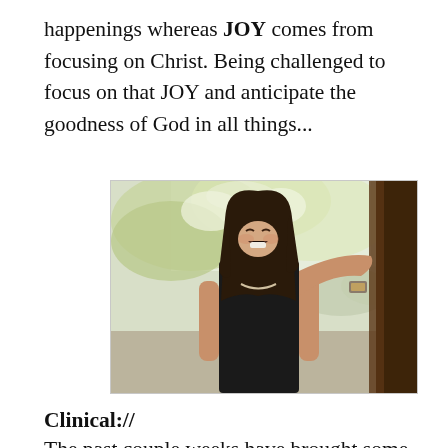happenings whereas JOY comes from focusing on Christ. Being challenged to focus on that JOY and anticipate the goodness of God in all things...
[Figure (photo): A young woman with long dark hair wearing a black tank top, laughing and leaning against a tree outdoors, with sunlit foliage in the background.]
Clinical://
The past couple weeks have brought some challenges